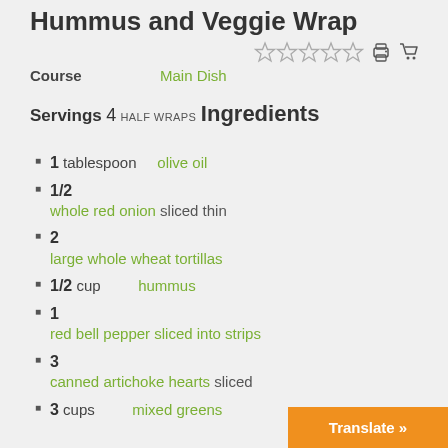Hummus and Veggie Wrap
Course: Main Dish
Servings
4 HALF WRAPS
Ingredients
1 tablespoon olive oil
1/2 whole red onion sliced thin
2 large whole wheat tortillas
1/2 cup hummus
1 red bell pepper sliced into strips
3 canned artichoke hearts sliced
3 cups mixed greens
Translate »